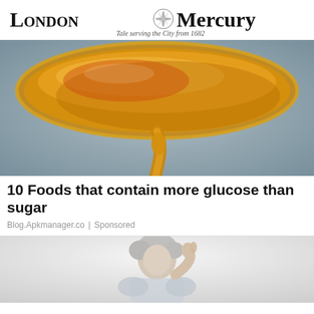London Mercury — Tale serving the City from 1682
[Figure (photo): Close-up photo of golden honey or syrup dripping from a spoon, amber colored liquid against a blurred grey background]
10 Foods that contain more glucose than sugar
Blog.Apkmanager.co | Sponsored
[Figure (photo): Partial photo of an elderly person with grey hair, appearing to be in a light indoor setting]